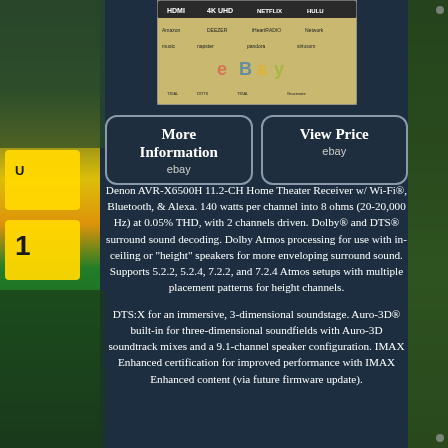[Figure (photo): Denon AVR-X6500H product image showing brand logos and streaming service logos on a golden/beige background]
[Figure (other): More Information button linking to eBay]
[Figure (other): View Price button linking to eBay]
Denon AVR-X6500H 11.2-CH Home Theater Receiver w/ Wi-Fi®, Bluetooth, & Alexa. 140 watts per channel into 8 ohms (20-20,000 Hz) at 0.05% THD, with 2 channels driven. Dolby® and DTS® surround sound decoding. Dolby Atmos processing for use with in-ceiling or "height" speakers for more enveloping surround sound. Supports 5.2.2, 5.2.4, 7.2.2, and 7.2.4 Atmos setups with multiple placement patterns for height channels.
DTS:X for an immersive, 3-dimensional soundstage. Auro-3D® built-in for three-dimensional soundfields with Auro-3D soundtrack mixes and a 9.1-channel speaker configuration. IMAX Enhanced certification for improved performance with IMAX Enhanced content (via future firmware update).